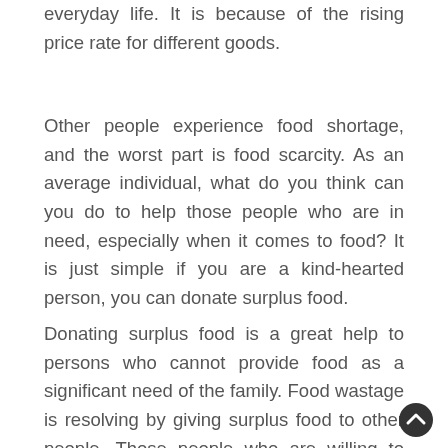everyday life. It is because of the rising price rate for different goods.
Other people experience food shortage, and the worst part is food scarcity. As an average individual, what do you think can you do to help those people who are in need, especially when it comes to food? It is just simple if you are a kind-hearted person, you can donate surplus food.
Donating surplus food is a great help to persons who cannot provide food as a significant need of the family. Food wastage is resolving by giving surplus food to other people. Those people who are willing to give some of their surplus food are part of a specific organization. They went to many places where they can lend their help by donating surplus food.